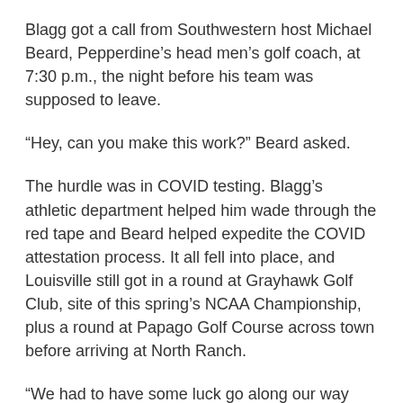Blagg got a call from Southwestern host Michael Beard, Pepperdine’s head men’s golf coach, at 7:30 p.m., the night before his team was supposed to leave.
“Hey, can you make this work?” Beard asked.
The hurdle was in COVID testing. Blagg’s athletic department helped him wade through the red tape and Beard helped expedite the COVID attestation process. It all fell into place, and Louisville still got in a round at Grayhawk Golf Club, site of this spring’s NCAA Championship, plus a round at Papago Golf Course across town before arriving at North Ranch.
“We had to have some luck go along our way making sure we tested negative,” Blagg said.